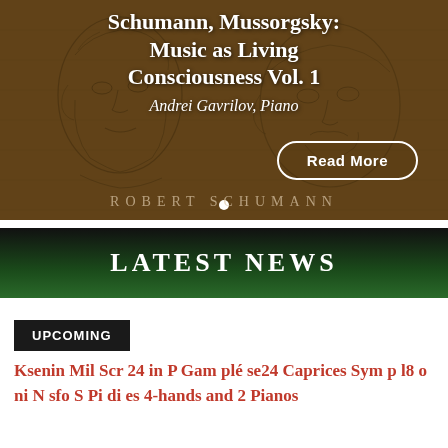[Figure (illustration): Hero banner with pencil sketch portraits of composers (Robert Schumann and Mussorgsky) on a warm brown background, overlaid with white text title and a 'Read More' button. A watermark reads 'ROBERT SCHUMANN' at the bottom.]
Schumann, Mussorgsky: Music as Living Consciousness Vol. 1
Andrei Gavrilov, Piano
LATEST NEWS
UPCOMING
Ksenin Mil Scr 24 in P Gam plé se 24 Caprices Sym p l8 o ni N sfo S Pi di es 4-hands and 2 Pianos